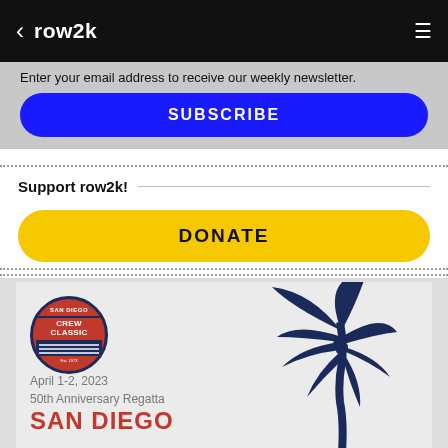row2k
Enter your email address to receive our weekly newsletter.
SUBSCRIBE
Support row2k!
DONATE
[Figure (illustration): San Diego Crew Classic advertisement banner showing circular logo with oars, palm tree silhouette, and text: April 1-2, 2023 / 50th Anniversary Regatta / SAN DIEGO]